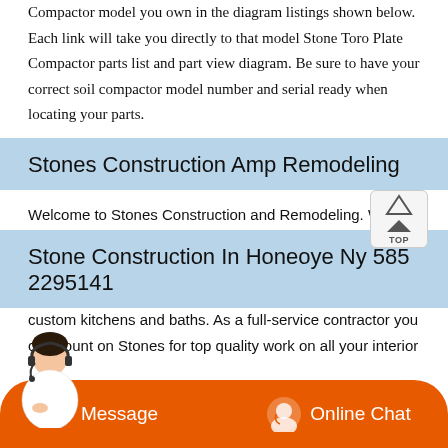Compactor model you own in the diagram listings shown below. Each link will take you directly to that model Stone Toro Plate Compactor parts list and part view diagram. Be sure to have your correct soil compactor model number and serial ready when locating your parts.
Stones Construction Amp Remodeling
Welcome to Stones Construction and Remodeling. When you are considering new construction or remodeling, come to Stones Construction. With decades of experience, we specialize in new home construction, additions, and custom kitchens and baths. As a full-service contractor you can count on Stones for top quality work on all your interior ...
Stone Construction In Honeoye Ny 585 2295141
[Figure (other): Orange chat bar with Message and Online Chat buttons, and a customer service avatar image at bottom left]
Get STONE CONSTRUCTION... construction choices and...